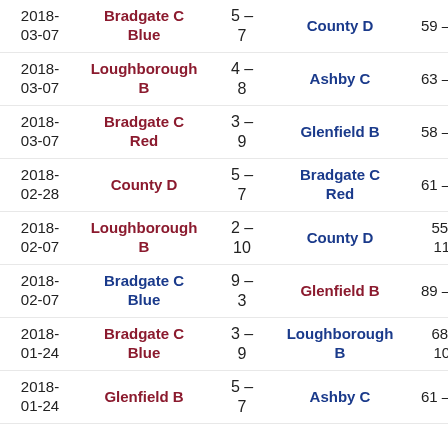| Date | Home | Score | Away | Points |
| --- | --- | --- | --- | --- |
| 2018-03-07 | Bradgate C Blue | 5 – 7 | County D | 59 – 66 |
| 2018-03-07 | Loughborough B | 4 – 8 | Ashby C | 63 – 94 |
| 2018-03-07 | Bradgate C Red | 3 – 9 | Glenfield B | 58 – 99 |
| 2018-02-28 | County D | 5 – 7 | Bradgate C Red | 61 – 80 |
| 2018-02-07 | Loughborough B | 2 – 10 | County D | 55 – 117 |
| 2018-02-07 | Bradgate C Blue | 9 – 3 | Glenfield B | 89 – 44 |
| 2018-01-24 | Bradgate C Blue | 3 – 9 | Loughborough B | 68 – 104 |
| 2018-01-24 | Glenfield B | 5 – 7 | Ashby C | 61 – 69 |